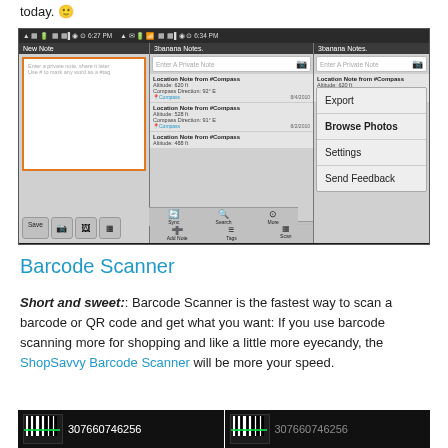today. 🙂
[Figure (screenshot): Android app screenshot showing 3banana Notes app with three panels: New Note entry panel with orange-bordered text area and Save button, 3banana Notes list with compass-tagged notes, and a context menu showing Export, Browse Photos, Settings, Send Feedback options]
Barcode Scanner
Short and sweet:: Barcode Scanner is the fastest way to scan a barcode or QR code and get what you want: If you use barcode scanning more for shopping and like a little more eyecandy, the ShopSavvy Barcode Scanner will be more your speed.
[Figure (screenshot): Two side-by-side barcode scanner screenshots showing barcode scan of number 307660746256 with green scan line]